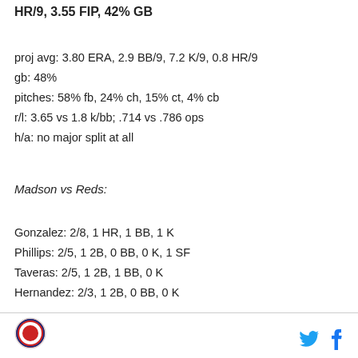HR/9, 3.55 FIP, 42% GB
proj avg: 3.80 ERA, 2.9 BB/9, 7.2 K/9, 0.8 HR/9
gb: 48%
pitches: 58% fb, 24% ch, 15% ct, 4% cb
r/l: 3.65 vs 1.8 k/bb; .714 vs .786 ops
h/a: no major split at all
Madson vs Reds:
Gonzalez: 2/8, 1 HR, 1 BB, 1 K
Phillips: 2/5, 1 2B, 0 BB, 0 K, 1 SF
Taveras: 2/5, 1 2B, 1 BB, 0 K
Hernandez: 2/3, 1 2B, 0 BB, 0 K
Logo | Twitter | Facebook